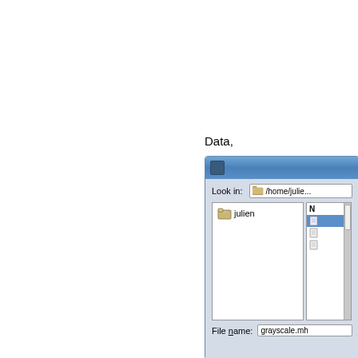Data,
[Figure (screenshot): A partially visible file open dialog window. Title bar is blue with a small dark icon. The dialog shows 'Look in:' field with '/home/julie...' path. Left pane shows a folder icon labeled 'julien'. Right pane shows file icons with one highlighted in blue. Bottom shows 'File name:' field with 'grayscale.mh' text.]